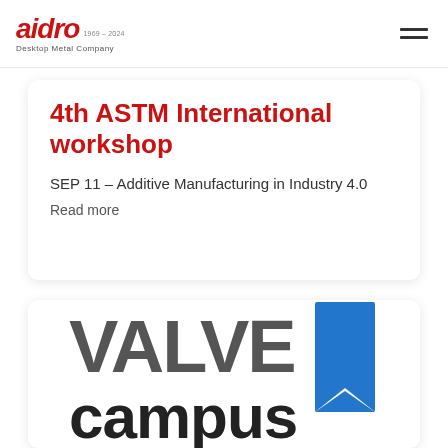[Figure (logo): Aidro Desktop Metal Company logo — red bold italic text 'aidro' with 'Desktop Metal Company' subtitle]
4th ASTM International workshop
SEP 11 – Additive Manufacturing in Industry 4.0
Read more
[Figure (logo): Valve Campus logo — grey bold text 'VALVE' and 'campus' with a blue bookmark ribbon icon on the right]